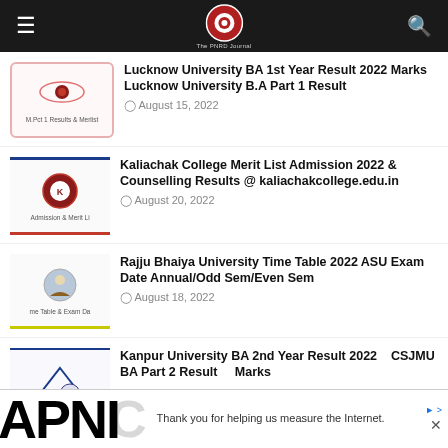Navigation header with hamburger menu, logo, and search icon
Lucknow University BA 1st Year Result 2022 Marks Lucknow University B.A Part 1 Result — August 15, 2022
Kaliachak College Merit List Admission 2022 & Counselling Results @ kaliachakcollege.edu.in — August 20, 2022
Rajju Bhaiya University Time Table 2022 ASU Exam Date Annual/Odd Sem/Even Sem — August 18, 2022
Kanpur University BA 2nd Year Result 2022 CSJMU BA Part 2 Result Marks
[Figure (advertisement): APNIC advertisement banner with text 'Thank you for helping us measure the Internet.']